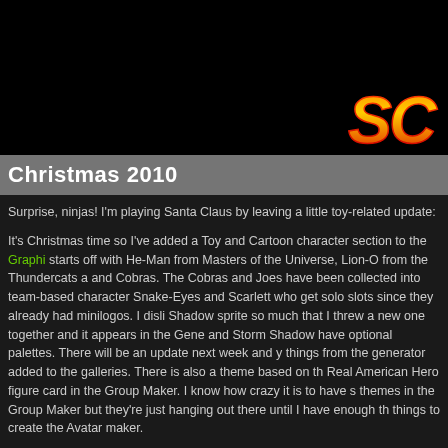[Figure (screenshot): Black banner header with a logo partially visible in the bottom-right corner showing stylized 'SC' letters in orange/yellow gradient on black background]
Christmas 2010
Surprise, ninjas! I'm playing Santa Claus by leaving a little toy-related update:

It's Christmas time so I've added a Toy and Cartoon character section to the Graphi... starts off with He-Man from Masters of the Universe, Lion-O from the Thundercats a... and Cobras. The Cobras and Joes have been collected into team-based character ... Snake-Eyes and Scarlett who get solo slots since they already had minilogos. I disli... Shadow sprite so much that I threw a new one together and it appears in the Gene... and Storm Shadow have optional palettes. There will be an update next week and y... things from the generator added to the galleries. There is also a theme based on th... Real American Hero figure card in the Group Maker. I know how crazy it is to have s... themes in the Group Maker but they're just hanging out there until I have enough th... things to create the Avatar maker.

Also: There's a new sprite pack from the Sailor Moon game by Banpresto. These w...